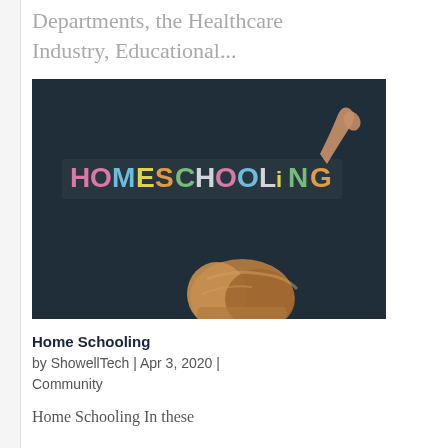Departments, the Healthcare Industry, Educational...
[Figure (photo): A child writing 'HOMESCHOOLING' in colorful chalk letters on a dark chalkboard, reaching up with one hand.]
Home Schooling
by ShowellTech | Apr 3, 2020 | Community
Home Schooling In these